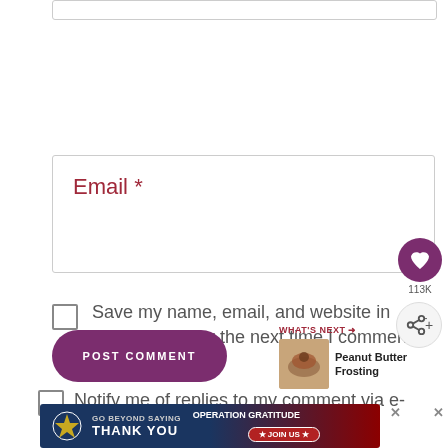Email *
Save my name, email, and website in this browser for the next time I comment.
Notify me of replies to my comment via e-mail.
POST COMMENT
WHAT'S NEXT → Peanut Butter Frosting
[Figure (other): Heart/like button with 113K count and share button]
[Figure (screenshot): GO BEYOND SAYING THANK YOU - OPERATION GRATITUDE JOIN US advertisement banner]